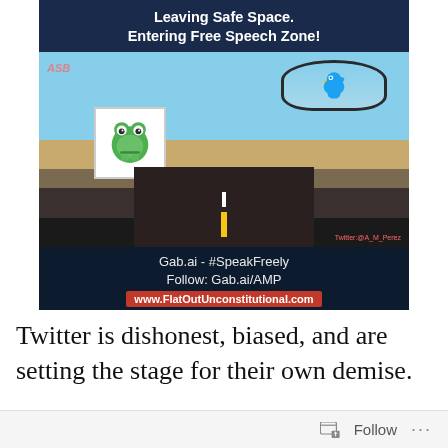[Figure (infographic): A meme image showing a view from inside a car driving on a long straight road. Text at top reads 'Leaving Safe Space. Entering Free Speech Zone!' A frog face logo (Pepe/Gab) is on a sign beside the road. The rearview mirror shows a Twitter bird. Bottom text: 'Gab.ai - #SpeakFreely Follow: Gab.ai/AMP' and 'www.FlatOutUnconstitutional.com'. Twitter: @A_M_Perez watermark.]
Twitter is dishonest, biased, and are setting the stage for their own demise.
Follow ...